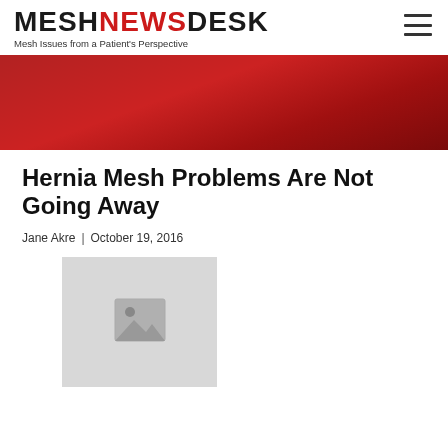MESHNEWSDESK — Mesh Issues from a Patient's Perspective
[Figure (other): Red gradient banner image]
Hernia Mesh Problems Are Not Going Away
Jane Akre | October 19, 2016
[Figure (photo): Placeholder image (no image loaded)]